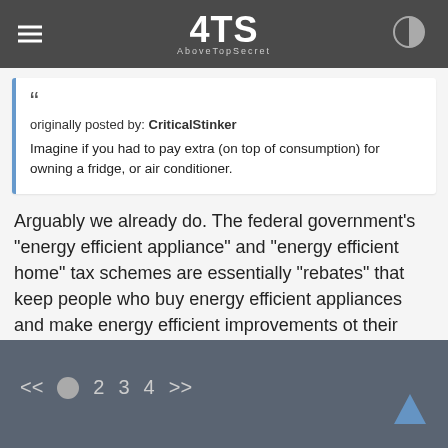4TS AboveTopSecret
originally posted by: CriticalStinker
Imagine if you had to pay extra (on top of consumption) for owning a fridge, or air conditioner.
Arguably we already do. The federal government's "energy efficient appliance" and "energy efficient home" tax schemes are essentially "rebates" that keep people who buy energy efficient appliances and make energy efficient improvements ot their homes at the same tax bracket while making those who don't be subject to the new, higher tax rates.
<< 1 2 3 4 >>